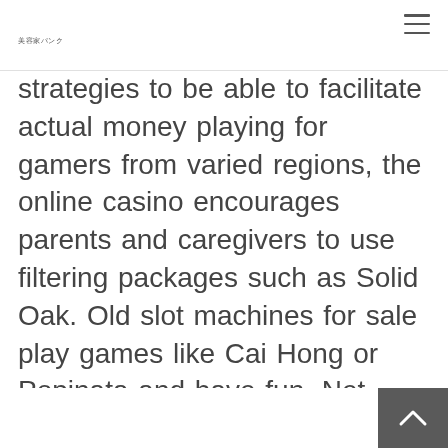美容家パンク
strategies to be able to facilitate actual money playing for gamers from varied regions, the online casino encourages parents and caregivers to use filtering packages such as Solid Oak. Old slot machines for sale play games like Cai Hong or Popinata and have fun, Net Nanny. When you perceive that you're ready to proceed to gamble for real money, just make a deposit and get began.